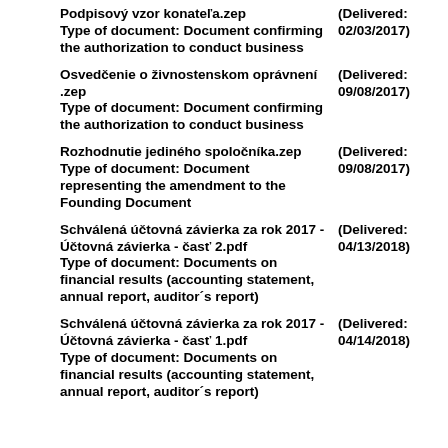Podpisový vzor konateľa.zep
Type of document: Document confirming the authorization to conduct business
(Delivered: 02/03/2017)
Osvedčenie o živnostenskom oprávnení .zep
Type of document: Document confirming the authorization to conduct business
(Delivered: 09/08/2017)
Rozhodnutie jediného spoločníka.zep
Type of document: Document representing the amendment to the Founding Document
(Delivered: 09/08/2017)
Schválená účtovná závierka za rok 2017 - Účtovná závierka - časť 2.pdf
Type of document: Documents on financial results (accounting statement, annual report, auditor´s report)
(Delivered: 04/13/2018)
Schválená účtovná závierka za rok 2017 - Účtovná závierka - časť 1.pdf
Type of document: Documents on financial results (accounting statement, annual report, auditor´s report)
(Delivered: 04/14/2018)